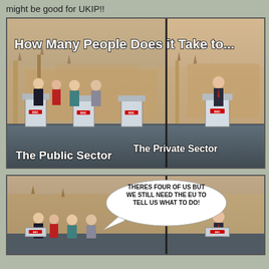might be good for UKIP!!
[Figure (photo): Political debate meme showing two panels. Left panel: four politicians crowded at debate podiums labeled 'The Public Sector'. Right panel: one politician alone at a podium labeled 'The Private Sector'. Top text reads 'How Many People Does it Take to...']
[Figure (photo): Lower panel showing same debate scene with a speech bubble reading 'THERES FOUR OF US BUT WE STILL NEED THE EU TO TELL US WHAT TO DO!']